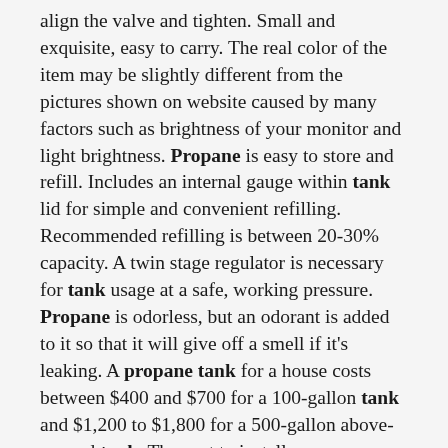align the valve and tighten. Small and exquisite, easy to carry. The real color of the item may be slightly different from the pictures shown on website caused by many factors such as brightness of your monitor and light brightness. Propane is easy to store and refill. Includes an internal gauge within tank lid for simple and convenient refilling. Recommended refilling is between 20-30% capacity. A twin stage regulator is necessary for tank usage at a safe, working pressure. Propane is odorless, but an odorant is added to it so that it will give off a smell if it's leaking. A propane tank for a house costs between $400 and $700 for a 100-gallon tank and $1,200 to $1,800 for a 500-gallon above-ground tank. The cost to install an underground propane tank runs $1,600 to $2,400 for a 500-gallon tank and $3,100 to $4,500 for a 1000-gallon tank. Get free estimates from propane tank